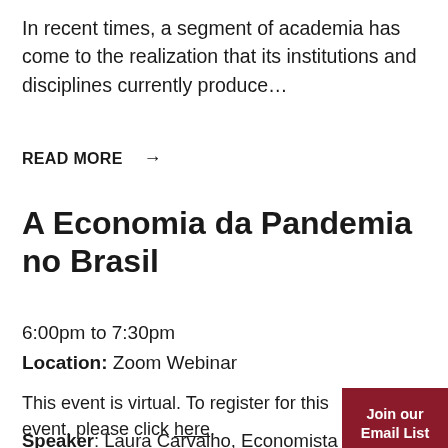In recent times, a segment of academia has come to the realization that its institutions and disciplines currently produce…
READ MORE →
A Economia da Pandemia no Brasil
6:00pm to 7:30pm
Location: Zoom Webinar
This event is virtual. To register for this event, please click here.
Join our Email List
Speaker: Laura Carvalho, Economista